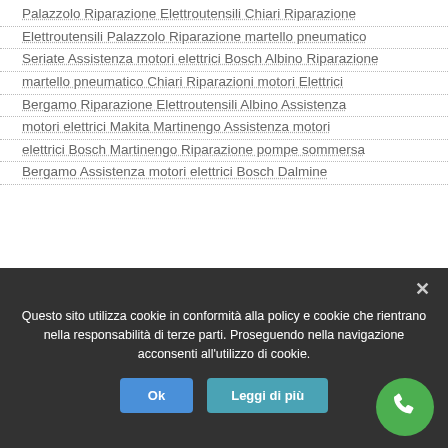Palazzolo Riparazione Elettroutensili Chiari Riparazione Elettroutensili Palazzolo Riparazione martello pneumatico Seriate Assistenza motori elettrici Bosch Albino Riparazione martello pneumatico Chiari Riparazioni motori Elettrici Bergamo Riparazione Elettroutensili Albino Assistenza motori elettrici Makita Martinengo Assistenza motori elettrici Bosch Martinengo Riparazione pompe sommersa Bergamo Assistenza motori elettrici Bosch Dalmine
Questo sito utilizza cookie in conformità alla policy e cookie che rientrano nella responsabilità di terze parti. Proseguendo nella navigazione acconsenti all'utilizzo di cookie.
Ok
Leggi di più